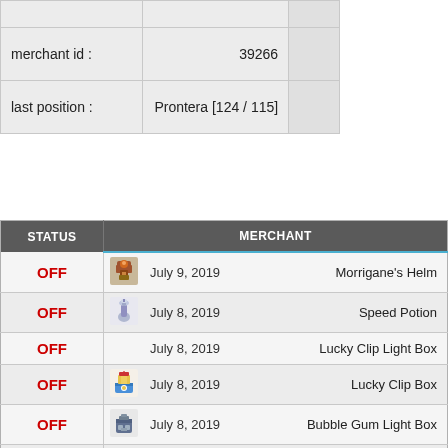|  |  |  |
| --- | --- | --- |
| merchant id : | 39266 |  |
| last position : | Prontera [124 / 115] |  |
| STATUS | MERCHANT |
| --- | --- |
| OFF | July 9, 2019 | Morrigane's Helm |
| OFF | July 8, 2019 | Speed Potion |
| OFF | July 8, 2019 | Lucky Clip Light Box |
| OFF | July 8, 2019 | Lucky Clip Box |
| OFF | July 8, 2019 | Bubble Gum Light Box |
| OFF | July 8, 2019 | Bubble Gum Low Box |
| OFF | July 8, 2019 | +6 Lord of Death[1] |